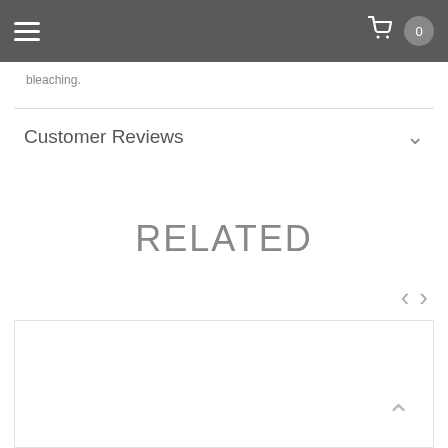Navigation header with hamburger menu, cart icon, and badge showing 0
bleaching.
Customer Reviews
RELATED
[Figure (other): Empty product card placeholder with back-to-top arrow button in bottom right corner]